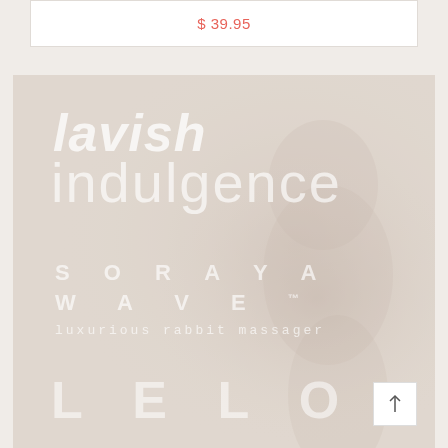$ 39.95
[Figure (photo): LELO Soraya Wave promotional banner with lavish indulgence tagline, showing product branding text over a faded background image of a person. Text reads: lavish indulgence, SORAYA WAVE™, luxurious rabbit massager, LELO]